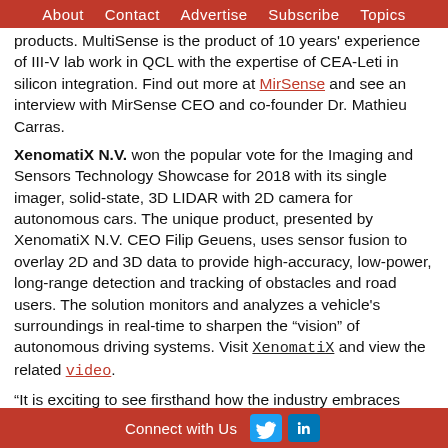About   Contact   Advertise   Subscribe   Topics
products. MultiSense is the product of 10 years' experience of III-V lab work in QCL with the expertise of CEA-Leti in silicon integration. Find out more at MirSense and see an interview with MirSense CEO and co-founder Dr. Mathieu Carras.
XenomatiX N.V. won the popular vote for the Imaging and Sensors Technology Showcase for 2018 with its single imager, solid-state, 3D LIDAR with 2D camera for autonomous cars. The unique product, presented by XenomatiX N.V. CEO Filip Geuens, uses sensor fusion to overlay 2D and 3D data to provide high-accuracy, low-power, long-range detection and tracking of obstacles and road users. The solution monitors and analyzes a vehicle's surroundings in real-time to sharpen the “vision” of autonomous driving systems. Visit XenomatiX and view the related video.
“It is exciting to see firsthand how the industry embraces advancements such as those demonstrated by MirSense and XenomatiX, our Technology Showcase winners,” Ciesinski said. “Companies like these are at the edge of innovation, but...
Connect with Us